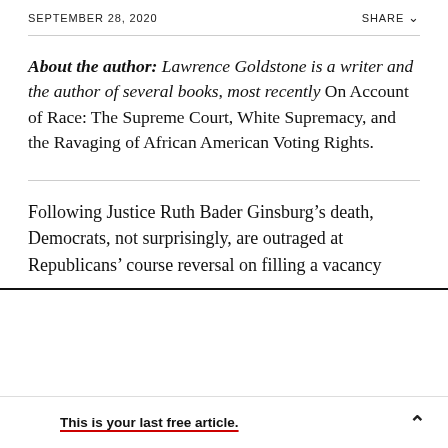SEPTEMBER 28, 2020   SHARE
About the author: Lawrence Goldstone is a writer and the author of several books, most recently On Account of Race: The Supreme Court, White Supremacy, and the Ravaging of African American Voting Rights.
Following Justice Ruth Bader Ginsburg’s death, Democrats, not surprisingly, are outraged at Republicans’ course reversal on filling a vacancy
This is your last free article.